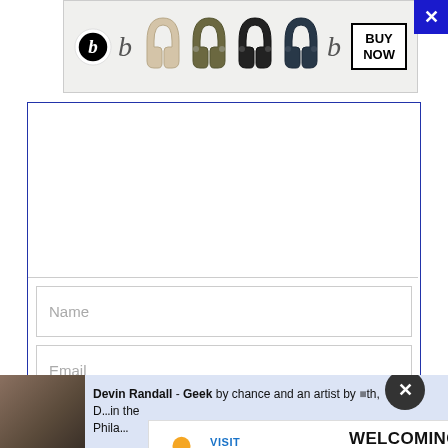[Figure (screenshot): Beats headphones advertisement banner. Shows Beats logo on left, multiple colored wireless headphones in a row (beige, olive, black, navy, dark), and a BUY NOW button on the right.]
[Figure (screenshot): Comment form with empty textarea, Name field, Email field, and a dark blue Post Comment button.]
Devin Randall - Geek by chance and an artist by nature, D...in the Phila...
[Figure (screenshot): Visit Lauderdale advertisement banner with rainbow pride arrow and WELCOMING EVERYONE text.]